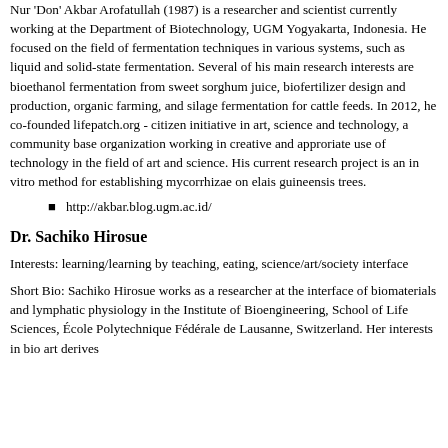Nur 'Don' Akbar Arofatullah (1987) is a researcher and scientist currently working at the Department of Biotechnology, UGM Yogyakarta, Indonesia. He focused on the field of fermentation techniques in various systems, such as liquid and solid-state fermentation. Several of his main research interests are bioethanol fermentation from sweet sorghum juice, biofertilizer design and production, organic farming, and silage fermentation for cattle feeds. In 2012, he co-founded lifepatch.org - citizen initiative in art, science and technology, a community base organization working in creative and approriate use of technology in the field of art and science. His current research project is an in vitro method for establishing mycorrhizae on elais guineensis trees.
http://akbar.blog.ugm.ac.id/
Dr. Sachiko Hirosue
Interests: learning/learning by teaching, eating, science/art/society interface
Short Bio: Sachiko Hirosue works as a researcher at the interface of biomaterials and lymphatic physiology in the Institute of Bioengineering, School of Life Sciences, École Polytechnique Fédérale de Lausanne, Switzerland. Her interests in bio art derives